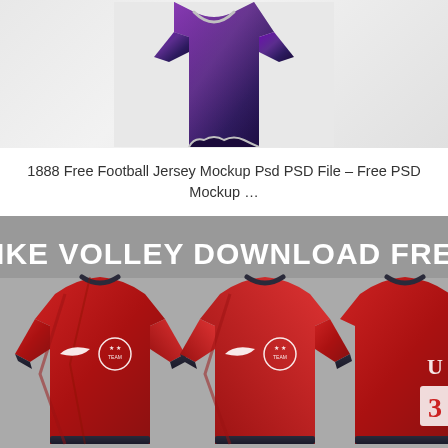[Figure (photo): Top portion of a purple/dark blue football jersey mockup on a light grey background, showing the collar and upper body of the jersey.]
1888 Free Football Jersey Mockup Psd PSD File – Free PSD Mockup …
[Figure (photo): Nike Volley Download Free banner image showing three red Nike football/soccer jerseys with dark cuffs and collar, featuring a white Nike swoosh and a circular team badge on the chest. The jerseys are displayed on a grey background with the text 'NIKE VOLLEY DOWNLOAD FREE' in large bold white letters at the top.]